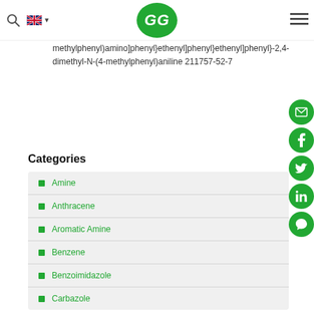GG logo, search, language selector, hamburger menu
methylphenyl)amino]phenyl}ethenyl]phenyl}ethenyl]phenyl}-2,4-dimethyl-N-(4-methylphenyl)aniline 211757-52-7
Categories
Amine
Anthracene
Aromatic Amine
Benzene
Benzoimidazole
Carbazole